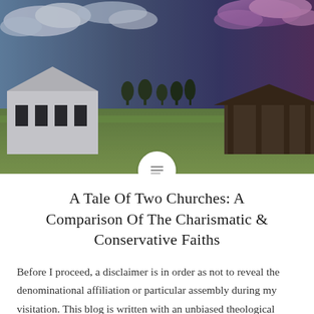[Figure (photo): A dramatic landscape photo showing two old buildings/churches on opposite sides of a wide open grassy field. The left building is a white structure, the right is a darker wooden structure. The sky transitions from blue/cloudy on the left to dark stormy purple/pink on the right. A white circle icon with menu lines appears at the bottom center of the image.]
A Tale Of Two Churches: A Comparison Of The Charismatic & Conservative Faiths
Before I proceed, a disclaimer is in order as not to reveal the denominational affiliation or particular assembly during my visitation. This blog is written with an unbiased theological